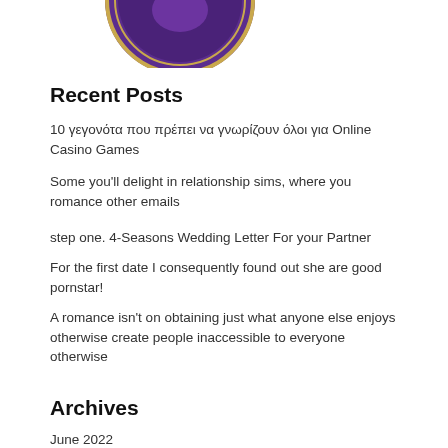[Figure (logo): Purple circular logo with gold trim, partially visible at top]
Recent Posts
10 γεγονότα που πρέπει να γνωρίζουν όλοι για Online Casino Games
Some you'll delight in relationship sims, where you romance other emails
step one. 4-Seasons Wedding Letter For your Partner
For the first date I consequently found out she are good pornstar!
A romance isn't on obtaining just what anyone else enjoys otherwise create people inaccessible to everyone otherwise
Archives
June 2022